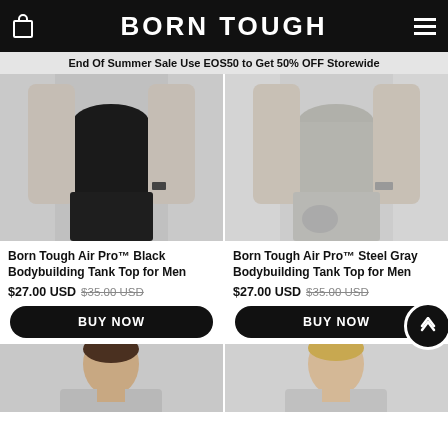BORN TOUGH
End Of Summer Sale Use EOS50 to Get 50% OFF Storewide
[Figure (photo): Man wearing Born Tough Air Pro Black Bodybuilding Tank Top and black shorts]
[Figure (photo): Man wearing Born Tough Air Pro Steel Gray Bodybuilding Tank Top and gray joggers]
Born Tough Air Pro™ Black Bodybuilding Tank Top for Men
Born Tough Air Pro™ Steel Gray Bodybuilding Tank Top for Men
$27.00 USD  $35.00 USD
$27.00 USD  $35.00 USD
BUY NOW
BUY NOW
[Figure (photo): Man (brunette) partially visible from shoulders/face, bottom of page]
[Figure (photo): Man (blonde) partially visible from shoulders/face, bottom of page]